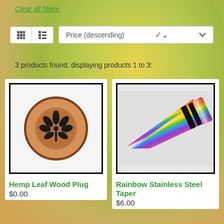Clear all filters
Price (descending)
3 products found, displaying products 1 to 3:
[Figure (photo): Hemp Leaf Wood Plug - a round wooden ear plug with a carved cannabis leaf design on the face]
Hemp Leaf Wood Plug
$0.00
[Figure (photo): Rainbow Stainless Steel Taper - a pointed metal ear taper with rainbow/holographic finish and black O-rings]
Rainbow Stainless Steel Taper
$6.00